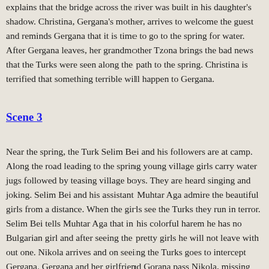explains that the bridge across the river was built in his daughter's shadow. Christina, Gergana's mother, arrives to welcome the guest and reminds Gergana that it is time to go to the spring for water. After Gergana leaves, her grandmother Tzona brings the bad news that the Turks were seen along the path to the spring. Christina is terrified that something terrible will happen to Gergana.
Scene 3
Near the spring, the Turk Selim Bei and his followers are at camp. Along the road leading to the spring young village girls carry water jugs followed by teasing village boys. They are heard singing and joking. Selim Bei and his assistant Muhtar Aga admire the beautiful girls from a distance. When the girls see the Turks they run in terror. Selim Bei tells Muhtar Aga that in his colorful harem he has no Bulgarian girl and after seeing the pretty girls he will not leave with out one. Nikola arrives and on seeing the Turks goes to intercept Gergana. Gergana and her girlfriend Gorana pass Nikola, missing him as they head for the spring. Selim Bei is overcome with the Gergana's